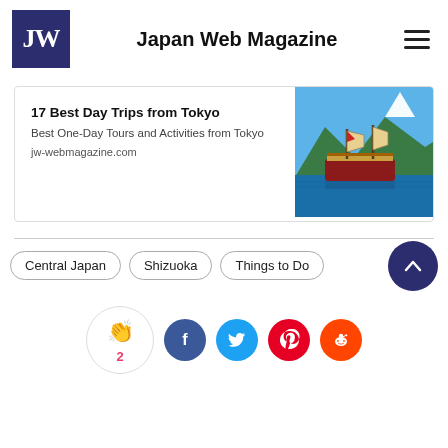Japan Web Magazine
17 Best Day Trips from Tokyo
Best One-Day Tours and Activities from Tokyo
jw-webmagazine.com
[Figure (photo): Hakone pirate ship on lake with Mount Fuji in background]
Central Japan
Shizuoka
Things to Do
[Figure (infographic): Social share buttons: clap (2), Facebook, Twitter, Pinterest, Reddit]